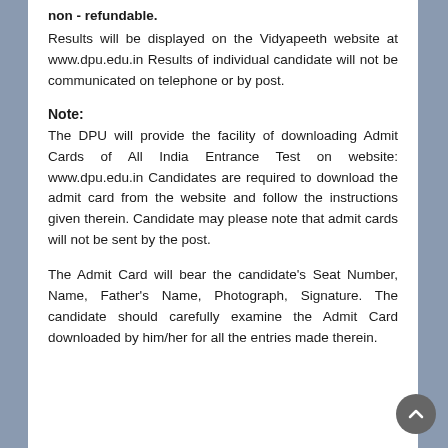non - refundable.
Results will be displayed on the Vidyapeeth website at www.dpu.edu.in Results of individual candidate will not be communicated on telephone or by post.
Note:
The DPU will provide the facility of downloading Admit Cards of All India Entrance Test on website: www.dpu.edu.in Candidates are required to download the admit card from the website and follow the instructions given therein. Candidate may please note that admit cards will not be sent by the post.
The Admit Card will bear the candidate's Seat Number, Name, Father's Name, Photograph, Signature. The candidate should carefully examine the Admit Card downloaded by him/her for all the entries made therein.